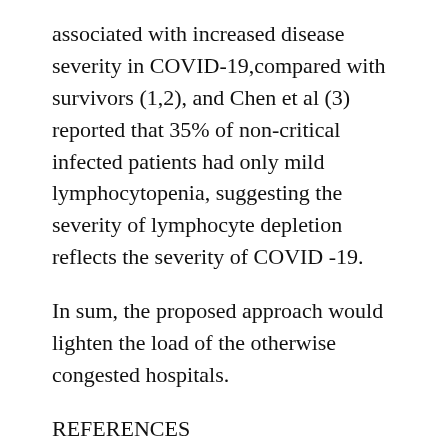associated with increased disease severity in COVID-19,compared with survivors (1,2), and Chen et al (3) reported that 35% of non-critical infected patients had only mild lymphocytopenia, suggesting the severity of lymphocyte depletion reflects the severity of COVID -19.
In sum, the proposed approach would lighten the load of the otherwise congested hospitals.
REFERENCES
1) Ruan Q, Yang K, Wang W, Jiang L, Song J. 2020. Clinical predictors of mortality due to COVID-19 based on an analysis of data of 150